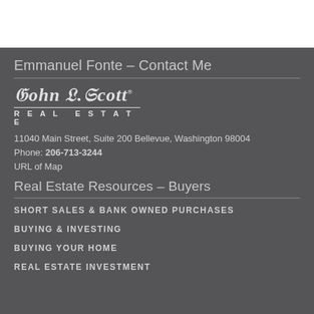Emmanuel Fonte – Contact Me
[Figure (logo): John L. Scott Real Estate logo in gothic/blackletter font with underline and REAL ESTATE text below]
11040 Main Street, Suite 200 Bellevue, Washington 98004
Phone: 206-713-3244
URL of Map
Real Estate Resources – Buyers
SHORT SALES & BANK OWNED PURCHASES
BUYING & INVESTING
BUYING YOUR HOME
REAL ESTATE INVESTMENT